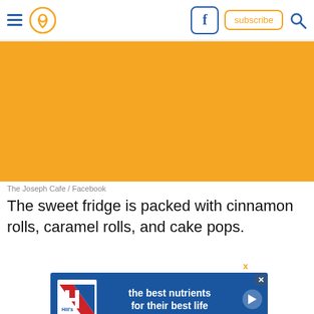Navigation bar with hamburger menu, location pin icon, Facebook button, subscribe button, search icon
[Figure (photo): Orange/yellow colored image block (photo of The Joseph Cafe from Facebook)]
The Joseph Cafe / Facebook
The sweet fridge is packed with cinnamon rolls, caramel rolls, and cake pops.
[Figure (infographic): Hill's pet nutrition advertisement banner: 'the best nutrients for their best life' with Hill's logo and play button]